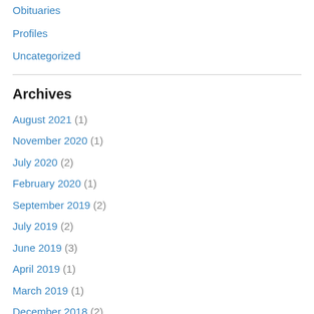Obituaries
Profiles
Uncategorized
Archives
August 2021 (1)
November 2020 (1)
July 2020 (2)
February 2020 (1)
September 2019 (2)
July 2019 (2)
June 2019 (3)
April 2019 (1)
March 2019 (1)
December 2018 (2)
November 2018 (1)
September 2018 (1)
July 2018 (6)